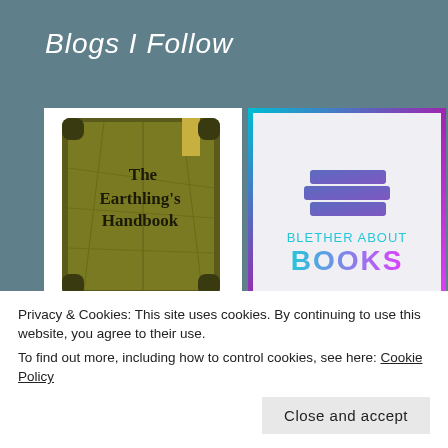Blogs I Follow
[Figure (illustration): Two blog thumbnail images in a 2-column grid. Top-left: The Earthling's Handbook book cover (green leaf-textured book). Top-right: Blether About Books logo (stacked books icon with gradient border and teal/pink text). Bottom-left: partial teal decorative thumbnail. Bottom-right: partial light blue thumbnail.]
Privacy & Cookies: This site uses cookies. By continuing to use this website, you agree to their use.
To find out more, including how to control cookies, see here: Cookie Policy
Close and accept